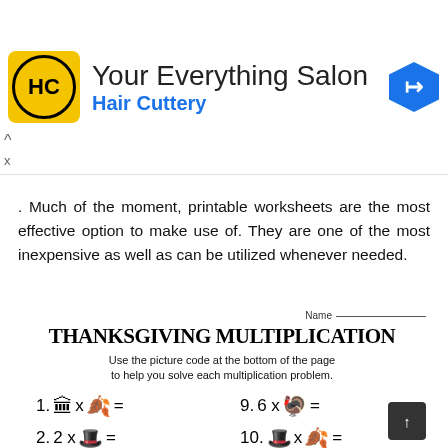[Figure (infographic): Hair Cuttery ad banner: yellow logo with HC in circle, title 'Your Everything Salon', subtitle 'Hair Cuttery' in blue, blue diamond arrow icon on right]
. Much of the moment, printable worksheets are the most effective option to make use of. They are one of the most inexpensive as well as can be utilized whenever needed.
[Figure (screenshot): Thanksgiving Multiplication worksheet preview showing Name line, decorative title 'THANKSGIVING MULTIPLICATION', instructions, and math problems 1-5 and 9-13 with picture icons (pilgrim hat, turkey, leaf) representing numbers in multiplication equations]